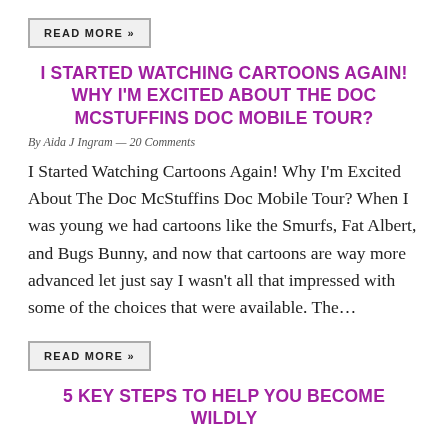READ MORE »
I STARTED WATCHING CARTOONS AGAIN! WHY I'M EXCITED ABOUT THE DOC MCSTUFFINS DOC MOBILE TOUR?
By Aida J Ingram — 20 Comments
I Started Watching Cartoons Again! Why I'm Excited About The Doc McStuffins Doc Mobile Tour? When I was young we had cartoons like the Smurfs, Fat Albert, and Bugs Bunny, and now that cartoons are way more advanced let just say I wasn't all that impressed with some of the choices that were available. The…
READ MORE »
5 KEY STEPS TO HELP YOU BECOME WILDLY